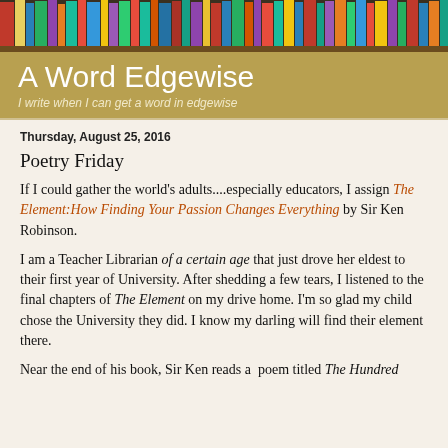[Figure (photo): Header image showing colorful book spines on a shelf]
A Word Edgewise
I write when I can get a word in edgewise
Thursday, August 25, 2016
Poetry Friday
If I could gather the world's adults....especially educators, I assign The Element:How Finding Your Passion Changes Everything by Sir Ken Robinson.
I am a Teacher Librarian of a certain age that just drove her eldest to their first year of University. After shedding a few tears, I listened to the final chapters of The Element on my drive home. I'm so glad my child chose the University they did. I know my darling will find their element there.
Near the end of his book, Sir Ken reads a  poem titled The Hundred